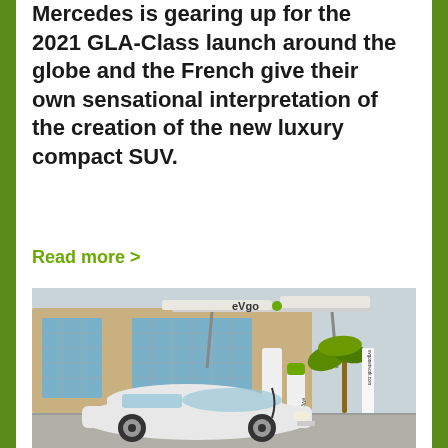Mercedes is gearing up for the 2021 GLA-Class launch around the globe and the French give their own sensational interpretation of the creation of the new luxury compact SUV.
Read more >
[Figure (photo): A white Nissan Leaf electric car parked at an eVgo electric vehicle charging station with a canopy structure, palm tree, and office building in the background.]